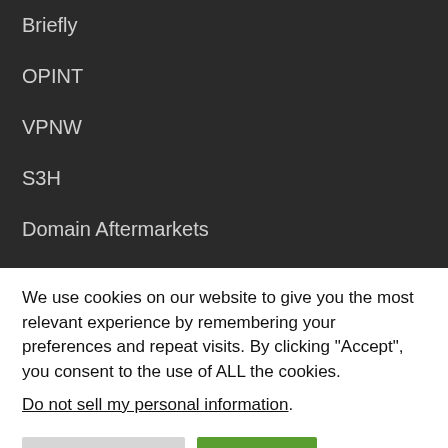Briefly
OPINT
VPNW
S3H
Domain Aftermarkets
App Coding
We use cookies on our website to give you the most relevant experience by remembering your preferences and repeat visits. By clicking “Accept”, you consent to the use of ALL the cookies.
Do not sell my personal information.
Cookie Settings
Accept